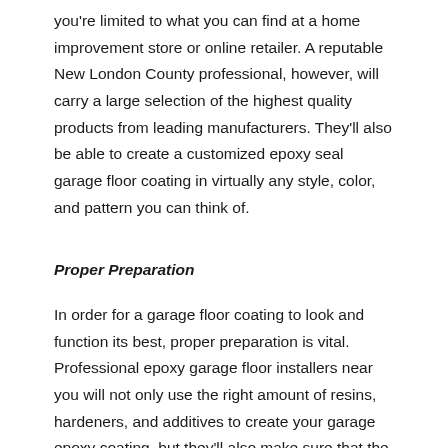you're limited to what you can find at a home improvement store or online retailer. A reputable New London County professional, however, will carry a large selection of the highest quality products from leading manufacturers. They'll also be able to create a customized epoxy seal garage floor coating in virtually any style, color, and pattern you can think of.
Proper Preparation
In order for a garage floor coating to look and function its best, proper preparation is vital. Professional epoxy garage floor installers near you will not only use the right amount of resins, hardeners, and additives to create your garage epoxy coating, but they'll also make sure that the concrete is thoroughly cleaned, dried, and abraded before they apply the mixture to your floors. The preparation techniques that a professional uses will